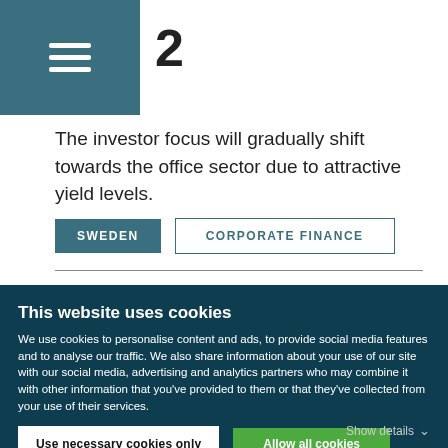The investor focus will gradually shift towards the office sector due to attractive yield levels.
SWEDEN
CORPORATE FINANCE
This website uses cookies
We use cookies to personalise content and ads, to provide social media features and to analyse our traffic. We also share information about your use of our site with our social media, advertising and analytics partners who may combine it with other information that you've provided to them or that they've collected from your use of their services.
Use necessary cookies only
Allow all cookies
Show details